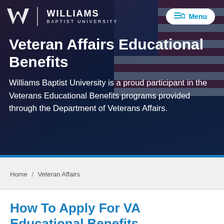[Figure (screenshot): Williams Baptist University logo with stylized W and text on dark navy background hero image with US flag in background]
Veteran Affairs Educational Benefits
Williams Baptist University is a proud participant in the Veterans Educational Benefits programs provided through the Department of Veterans Affairs.
Home / Veteran Affairs
How To Apply For VA Educational Benefits